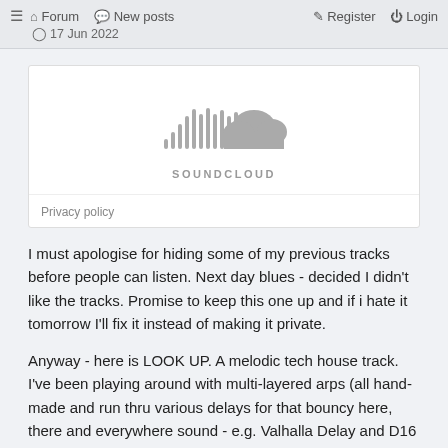≡ Forum  New posts  17 Jun 2022  Register  Login
[Figure (logo): SoundCloud logo with cloud icon and waveform lines, grayed out embed placeholder with Privacy policy link below]
I must apologise for hiding some of my previous tracks before people can listen. Next day blues - decided I didn't like the tracks. Promise to keep this one up and if i hate it tomorrow I'll fix it instead of making it private.
Anyway - here is LOOK UP. A melodic tech house track. I've been playing around with multi-layered arps (all hand-made and run thru various delays for that bouncy here, there and everywhere sound - e.g. Valhalla Delay and D16 Tekturon), gritty 12-bit piano samples. This time there isn't any vocal samples... well, there is... it's extremely subtle. Wanted the